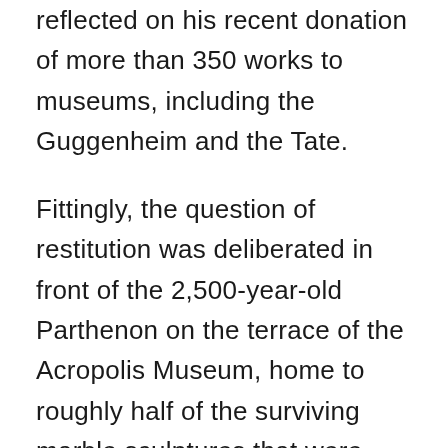reflected on his recent donation of more than 350 works to museums, including the Guggenheim and the Tate.
Fittingly, the question of restitution was deliberated in front of the 2,500-year-old Parthenon on the terrace of the Acropolis Museum, home to roughly half of the surviving marble sculptures that were part of the Parthenon’s original frieze. The others are in the British Museum, after Lord Elgin, Britain’s ambassador to the Ottoman Empire (which ruled over Greece at the time) had them removed two centuries ago.